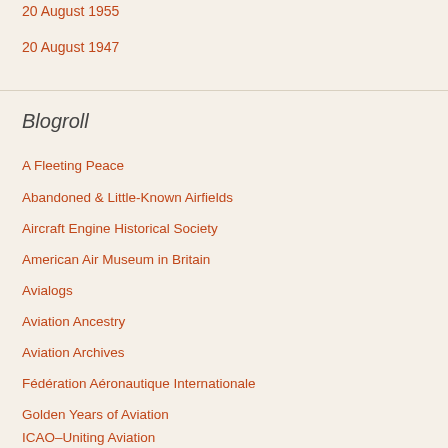20 August 1955
20 August 1947
Blogroll
A Fleeting Peace
Abandoned & Little-Known Airfields
Aircraft Engine Historical Society
American Air Museum in Britain
Avialogs
Aviation Ancestry
Aviation Archives
Fédération Aéronautique Internationale
Golden Years of Aviation
ICAO–Uniting Aviation